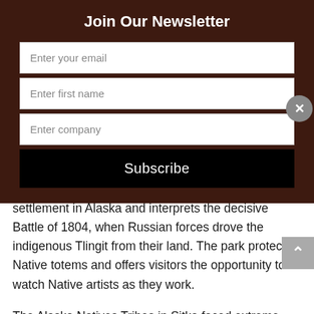Join Our Newsletter
Enter your email
Enter first name
Enter company
Subscribe
settlement in Alaska and interprets the decisive Battle of 1804, when Russian forces drove the indigenous Tlingit from their land. The park protects Native totems and offers visitors the opportunity to watch Native artists as they work.
The Alaska Natives Tribes in Sitka faced extreme challenges for hundreds of years, and today under a mutual understanding the park shares the story of the conflict between Europeans and Alaska Natives, including the native perspective. Telling